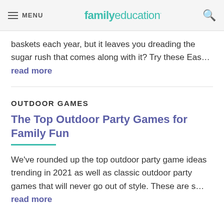MENU | familyeducation
baskets each year, but it leaves you dreading the sugar rush that comes along with it? Try these Eas... read more
OUTDOOR GAMES
The Top Outdoor Party Games for Family Fun
We've rounded up the top outdoor party game ideas trending in 2021 as well as classic outdoor party games that will never go out of style. These are s... read more